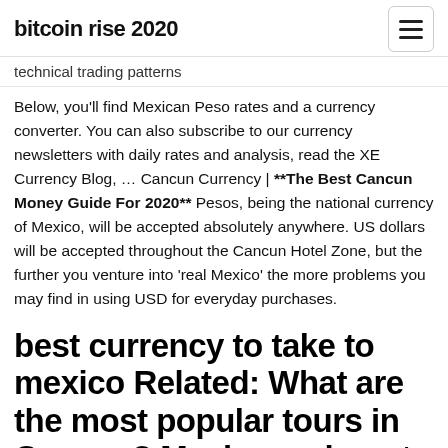bitcoin rise 2020
technical trading patterns
Below, you'll find Mexican Peso rates and a currency converter. You can also subscribe to our currency newsletters with daily rates and analysis, read the XE Currency Blog, … Cancun Currency | **The Best Cancun Money Guide For 2020** Pesos, being the national currency of Mexico, will be accepted absolutely anywhere. US dollars will be accepted throughout the Cancun Hotel Zone, but the further you venture into 'real Mexico' the more problems you may find in using USD for everyday purchases.
best currency to take to mexico Related: What are the most popular tours in Cancun? Mexicans do not like English money, do